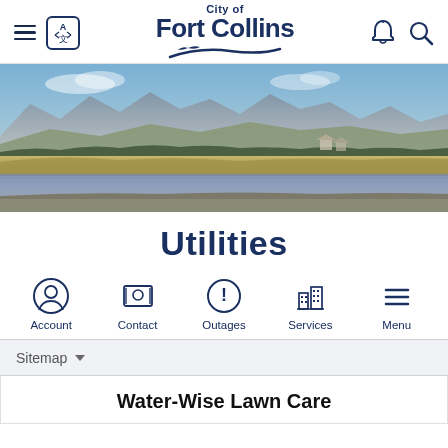City of Fort Collins
[Figure (photo): Panoramic landscape photo of Fort Collins area showing mountains in background, wetlands/lake in middle ground, and suburban area to the right under blue sky]
Utilities
Account | Contact | Outages | Services | Menu
Sitemap
Water-Wise Lawn Care